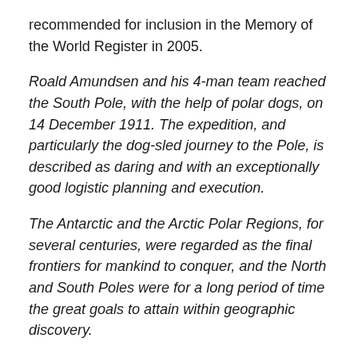recommended for inclusion in the Memory of the World Register in 2005.
Roald Amundsen and his 4-man team reached the South Pole, with the help of polar dogs, on 14 December 1911. The expedition, and particularly the dog-sled journey to the Pole, is described as daring and with an exceptionally good logistic planning and execution.
The Antarctic and the Arctic Polar Regions, for several centuries, were regarded as the final frontiers for mankind to conquer, and the North and South Poles were for a long period of time the great goals to attain within geographic discovery.
The discoveries in the polar areas contributed, not least in Norway but also internationally, to greater consciousness